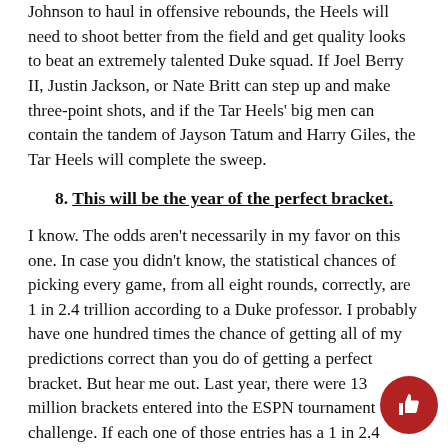Johnson to haul in offensive rebounds, the Heels will need to shoot better from the field and get quality looks to beat an extremely talented Duke squad. If Joel Berry II, Justin Jackson, or Nate Britt can step up and make three-point shots, and if the Tar Heels' big men can contain the tandem of Jayson Tatum and Harry Giles, the Tar Heels will complete the sweep.
8. This will be the year of the perfect bracket.
I know. The odds aren't necessarily in my favor on this one. In case you didn't know, the statistical chances of picking every game, from all eight rounds, correctly, are 1 in 2.4 trillion according to a Duke professor. I probably have one hundred times the chance of getting all of my predictions correct than you do of getting a perfect bracket. But hear me out. Last year, there were 13 million brackets entered into the ESPN tournament challenge. If each one of those entries has a 1 in 2.4 trillion chance of being perfect, then combined, the odds that just one of those 13 million end up perfect are only 1 in 184,000. This year, realistically, Duke and Kentucky seem set to dominate. Continued success of a few teams could make the tournament more predictable, thereby increasing those odds to slightly less impossible. If there was ever a year for the perfect bracket, this is it.